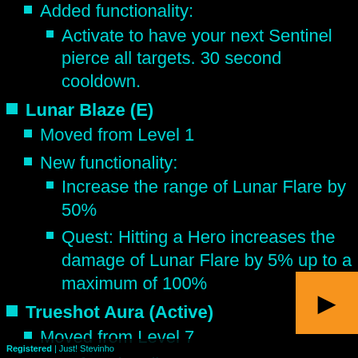Added functionality:
Activate to have your next Sentinel pierce all targets. 30 second cooldown.
Lunar Blaze (E)
Moved from Level 1
New functionality:
Increase the range of Lunar Flare by 50%
Quest: Hitting a Hero increases the damage of Lunar Flare by 5% up to a maximum of 100%
Trueshot Aura (Active)
Moved from Level 7
New functionality:
Tyrande permanently gains 20% Basic Attack damage.
Activate – Instantly reset Hunter's Mark grant nearby allies 20% additional Basic Attack damage for 5 seconds. 60 second cooldown
Registered | Just! Stevinho